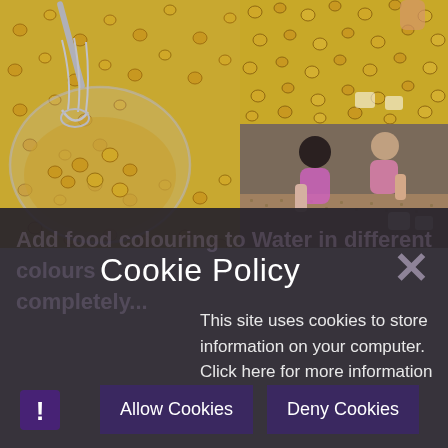[Figure (photo): Collage of three photos: left shows cereal rings in a bowl with a whisk on a surface covered in cereal; top right shows cereal rings spread across a surface with hands; bottom right shows two children playing in a sensory bin filled with grains and measuring cups.]
Cookie Policy
This site uses cookies to store information on your computer. Click here for more information
Allow Cookies
Deny Cookies